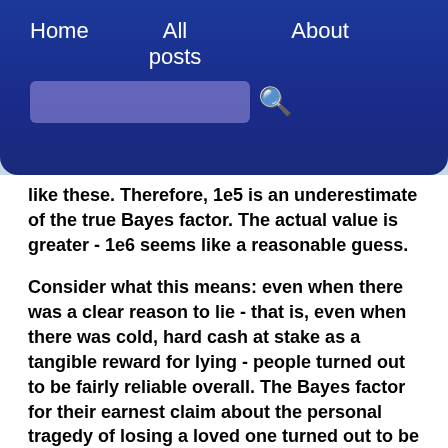Home   All posts   About
like these. Therefore, 1e5 is an underestimate of the true Bayes factor. The actual value is greater - 1e6 seems like a reasonable guess.
Consider what this means: even when there was a clear reason to lie - that is, even when there was cold, hard cash at stake as a tangible reward for lying - people turned out to be fairly reliable overall. The Bayes factor for their earnest claim about the personal tragedy of losing a loved one turned out to be about 1e6.
Now, the types of testimonies we're interested in would not have the explicit possibility of fraud as a precondition. It would also have a much lower prior,